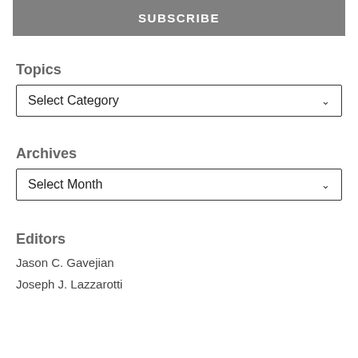SUBSCRIBE
Topics
Select Category
Archives
Select Month
Editors
Jason C. Gavejian
Joseph J. Lazzarotti